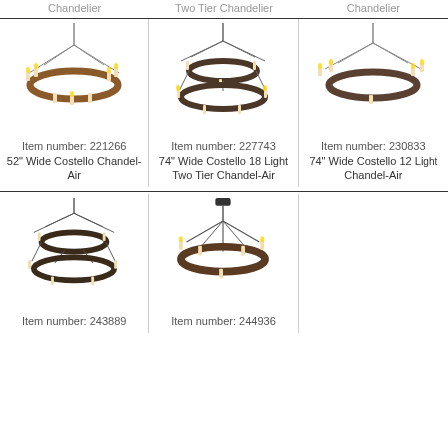Chandelier
Two Tier Chandelier
Chandelier
[Figure (photo): 52 inch Wide Costello Chandel-Air product photo, round dark metal chandelier with candle lights]
Item number: 221266
52" Wide Costello Chandel-Air
[Figure (photo): 74 inch Wide Costello 18 Light Two Tier Chandel-Air product photo, two-tier dark chandelier]
Item number: 227743
74" Wide Costello 18 Light Two Tier Chandel-Air
[Figure (photo): 74 inch Wide Costello 12 Light Chandel-Air product photo, round dark chandelier]
Item number: 230833
74" Wide Costello 12 Light Chandel-Air
[Figure (photo): Product 243889 chandelier photo, two-tier dark chandelier with candles]
Item number: 243889
[Figure (photo): Product 244936 chandelier photo, round dark chandelier with candles]
Item number: 244936